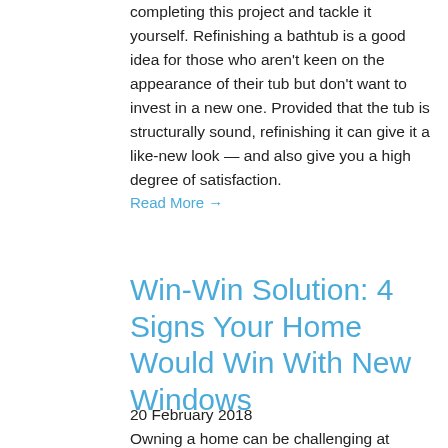completing this project and tackle it yourself. Refinishing a bathtub is a good idea for those who aren't keen on the appearance of their tub but don't want to invest in a new one. Provided that the tub is structurally sound, refinishing it can give it a like-new look — and also give you a high degree of satisfaction.
Read More →
Win-Win Solution: 4 Signs Your Home Would Win With New Windows
20 February 2018
Owning a home can be challenging at times because a great deal of cleaning and maintenance is required. From mowing your